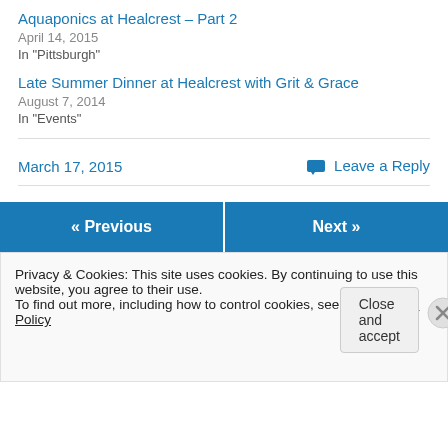Aquaponics at Healcrest – Part 2
April 14, 2015
In "Pittsburgh"
Late Summer Dinner at Healcrest with Grit & Grace
August 7, 2014
In "Events"
March 17, 2015
Leave a Reply
« Previous
Next »
Privacy & Cookies: This site uses cookies. By continuing to use this website, you agree to their use.
To find out more, including how to control cookies, see here: Cookie Policy
Close and accept